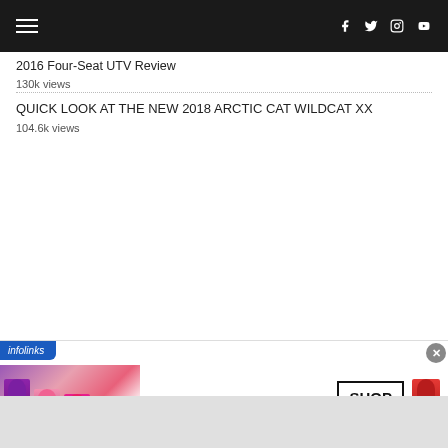Navigation bar with hamburger menu and social icons (Facebook, Twitter, Instagram, YouTube)
2016 Four-Seat UTV Review
130k views
QUICK LOOK AT THE NEW 2018 ARCTIC CAT WILDCAT XX
104.6k views
[Figure (screenshot): M·A·C cosmetics advertisement banner with lipsticks on left and right, M·A·C logo in center, and SHOP NOW button. Infolinks label at top-left corner and close (x) button at top-right.]